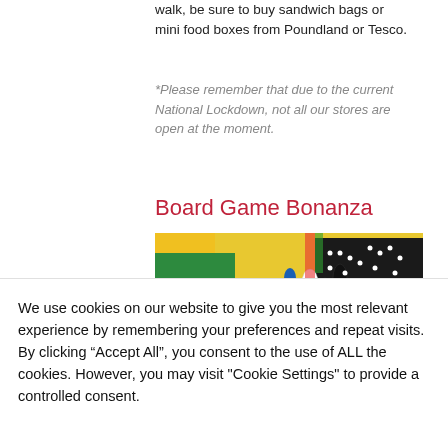walk, be sure to buy sandwich bags or mini food boxes from Poundland or Tesco.
*Please remember that due to the current National Lockdown, not all our stores are open at the moment.
Board Game Bonanza
[Figure (photo): Photo of various colorful board game pieces including chess pieces, tokens, and dominoes on game boards]
We use cookies on our website to give you the most relevant experience by remembering your preferences and repeat visits. By clicking “Accept All”, you consent to the use of ALL the cookies. However, you may visit "Cookie Settings" to provide a controlled consent.